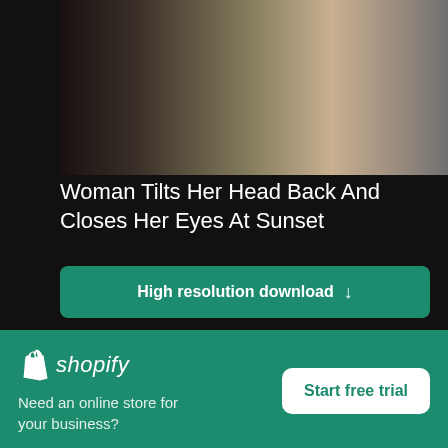[Figure (photo): Woman silhouette photo at sunset, partially visible at top of page]
Woman Tilts Her Head Back And Closes Her Eyes At Sunset
High resolution download ↓
[Figure (photo): Green tree branches photo partially visible]
[Figure (logo): Shopify logo with shopping bag icon]
Need an online store for your business?
Start free trial